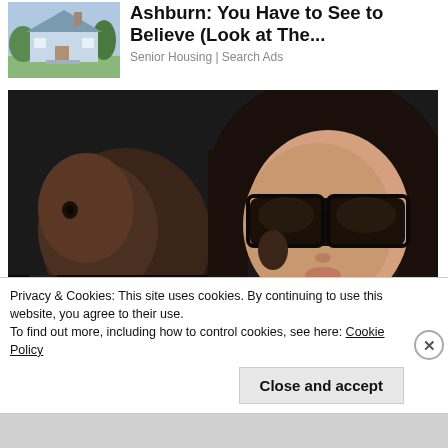[Figure (photo): Small house photo used in advertisement]
Ashburn: You Have to See to Believe (Look at The...
Senior Housing | Search Ads
[Figure (photo): Woman with sunglasses holding a young child, close-up photo]
Privacy & Cookies: This site uses cookies. By continuing to use this website, you agree to their use.
To find out more, including how to control cookies, see here: Cookie Policy
Close and accept